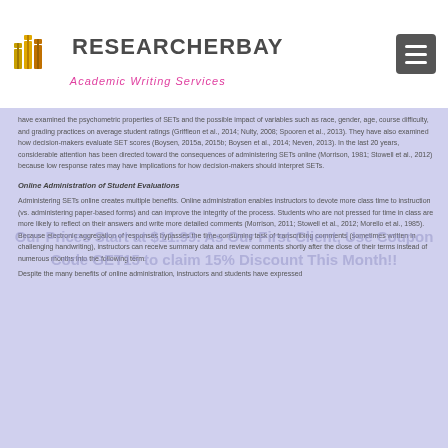[Figure (logo): ResearcherBay logo with stacked books icon in gold/orange, text RESEARCHERBAY in dark gray, subtitle Academic Writing Services in pink italic]
have examined the psychometric properties of SETs and the possible impact of variables such as race, gender, age, course difficulty, and grading practices on average student ratings (Griffieon et al., 2014; Nulty, 2008; Spooren et al., 2013). They have also examined how decision-makers evaluate SET scores (Boysen, 2015a, 2015b; Boysen et al., 2014; Neven, 2013). In the last 20 years, considerable attention has been directed toward the consequences of administering SETs online (Morrison, 1981; Stowell et al., 2012) because low response rates may have implications for how decision-makers should interpret SETs.
Online Administration of Student Evaluations
Administering SETs online creates multiple benefits. Online administration enables instructors to devote more class time to instruction (vs. administering paper-based forms) and can improve the integrity of the process. Students who are not pressed for time in class are more likely to reflect on their answers and write more detailed comments (Morrison, 2011; Stowell et al., 2012; Morello et al., 1985). Because electronic aggregation of responses bypasses the time-consuming task of transcribing comments (sometimes written in challenging handwriting), instructors can receive summary data and review comments shortly after the close of their terms instead of numerous months into the following term.
Despite the many benefits of online administration, instructors and students have expressed